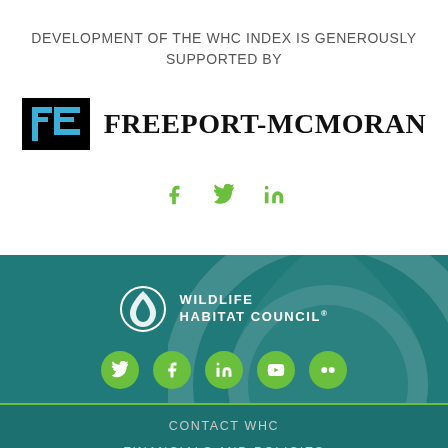DEVELOPMENT OF THE WHC INDEX IS GENEROUSLY SUPPORTED BY
[Figure (logo): Freeport-McMoRan company logo with blue FCX letter mark on black background and bold serif wordmark]
[Figure (infographic): Social media icons: Facebook, Twitter, LinkedIn in green]
[Figure (logo): Wildlife Habitat Council logo with flame/leaf icon in white on teal background]
[Figure (infographic): Five green circle social media icons: Twitter, Facebook, LinkedIn, YouTube, Flickr]
CONTACT WHC
FINANCIALS AND POLICIES